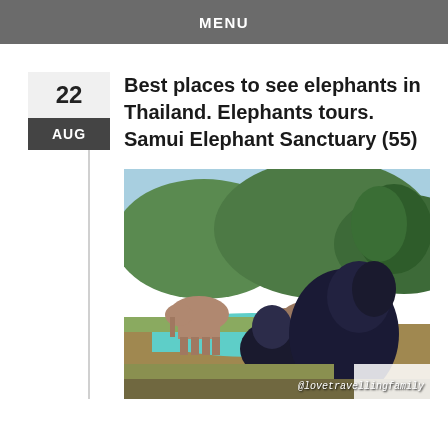MENU
Best places to see elephants in Thailand. Elephants tours. Samui Elephant Sanctuary (55)
[Figure (photo): Two people (adult and child) seen from behind watching two elephants near a blue-green water pool, with green hills and trees in the background. Watermark reads @lovetravellingfamily.]